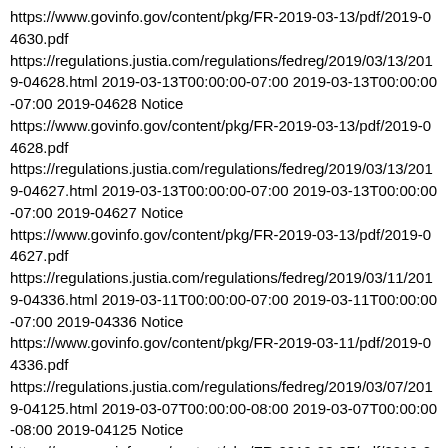https://www.govinfo.gov/content/pkg/FR-2019-03-13/pdf/2019-04630.pdf
https://regulations.justia.com/regulations/fedreg/2019/03/13/2019-04628.html 2019-03-13T00:00:00-07:00 2019-03-13T00:00:00-07:00 2019-04628 Notice
https://www.govinfo.gov/content/pkg/FR-2019-03-13/pdf/2019-04628.pdf
https://regulations.justia.com/regulations/fedreg/2019/03/13/2019-04627.html 2019-03-13T00:00:00-07:00 2019-03-13T00:00:00-07:00 2019-04627 Notice
https://www.govinfo.gov/content/pkg/FR-2019-03-13/pdf/2019-04627.pdf
https://regulations.justia.com/regulations/fedreg/2019/03/11/2019-04336.html 2019-03-11T00:00:00-07:00 2019-03-11T00:00:00-07:00 2019-04336 Notice
https://www.govinfo.gov/content/pkg/FR-2019-03-11/pdf/2019-04336.pdf
https://regulations.justia.com/regulations/fedreg/2019/03/07/2019-04125.html 2019-03-07T00:00:00-08:00 2019-03-07T00:00:00-08:00 2019-04125 Notice
https://www.govinfo.gov/content/pkg/FR-2019-03-07/pdf/2019-04125.pdf
https://regulations.justia.com/regulations/fedreg/2019/03/05/2019-03926.html 2019-03-05T00:00:00-08:00 2019-03-05T00:00:00-08:00 2019-03926 Notice
https://www.govinfo.gov/content/pkg/FR-2019-03-05/pdf/2019-